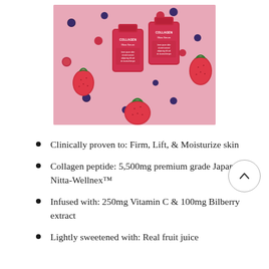[Figure (photo): Product photo showing two pink foil packets labeled 'COLLAGEN Glow Serum' surrounded by strawberries, raspberries, and blueberries on a pink background.]
Clinically proven to: Firm, Lift, & Moisturize skin
Collagen peptide: 5,500mg premium grade Japan Nitta-Wellnex™
Infused with: 250mg Vitamin C & 100mg Bilberry extract
Lightly sweetened with: Real fruit juice